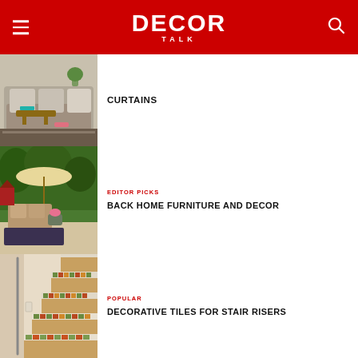DECOR TALK
CURTAINS
[Figure (photo): Indoor living room with sofa and cushions]
[Figure (photo): Outdoor patio furniture with umbrella and garden backdrop]
EDITOR PICKS
BACK HOME FURNITURE AND DECOR
[Figure (photo): Staircase with decorative tiled risers]
POPULAR
DECORATIVE TILES FOR STAIR RISERS